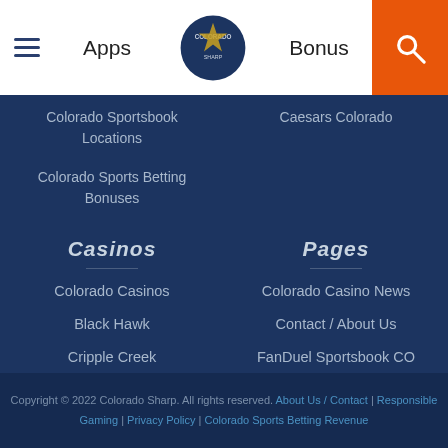Apps | Colorado Sharp | Bonus
Colorado Sportsbook Locations
Caesars Colorado
Colorado Sports Betting Bonuses
Casinos
Pages
Colorado Casinos
Colorado Casino News
Black Hawk
Contact / About Us
Cripple Creek
FanDuel Sportsbook CO
Central City
PointsBet Colorado
Copyright © 2022 Colorado Sharp. All rights reserved. About Us / Contact | Responsible Gaming | Privacy Policy | Colorado Sports Betting Revenue